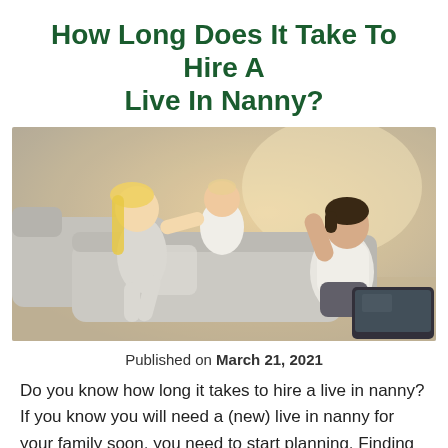How Long Does It Take To Hire A Live In Nanny?
[Figure (photo): A woman sitting on a couch lifts a baby while a young girl with pigtails reaches toward the baby. A laptop is visible on the right side. The scene appears warm and domestic, set in a living room with a gray sofa.]
Published on March 21, 2021
Do you know how long it takes to hire a live in nanny? If you know you will need a (new) live in nanny for your family soon, you need to start planning. Finding the right nanny is crucial